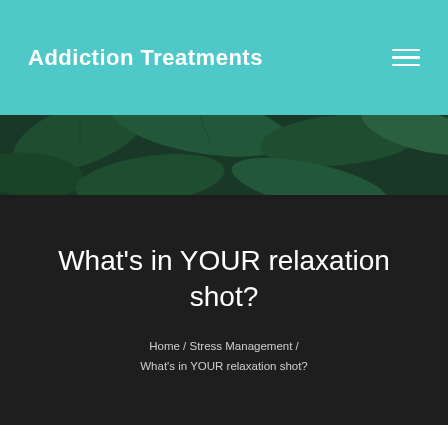Addiction Treatments
[Figure (photo): Dark green tropical leaves background image]
What's in YOUR relaxation shot?
Home / Stress Management / What's in YOUR relaxation shot?